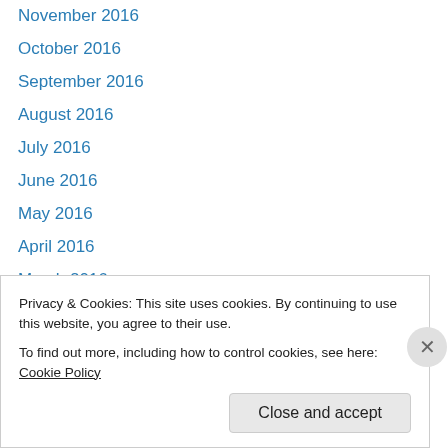November 2016
October 2016
September 2016
August 2016
July 2016
June 2016
May 2016
April 2016
March 2016
February 2016
January 2016
December 2015
November 2015
Privacy & Cookies: This site uses cookies. By continuing to use this website, you agree to their use.
To find out more, including how to control cookies, see here: Cookie Policy
Close and accept